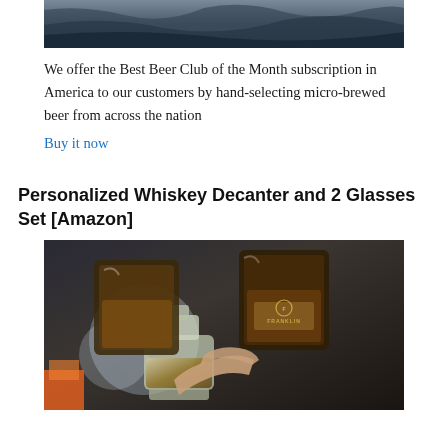[Figure (photo): Top portion of a product photo showing dark blue/grey fabric or material background]
We offer the Best Beer Club of the Month subscription in America to our customers by hand-selecting micro-brewed beer from across the nation
Buy it now
Personalized Whiskey Decanter and 2 Glasses Set [Amazon]
[Figure (photo): Photo of personalized whiskey decanter and two glasses engraved with 'FRANKLIN', people toasting with whiskey glasses, candlelight in background]